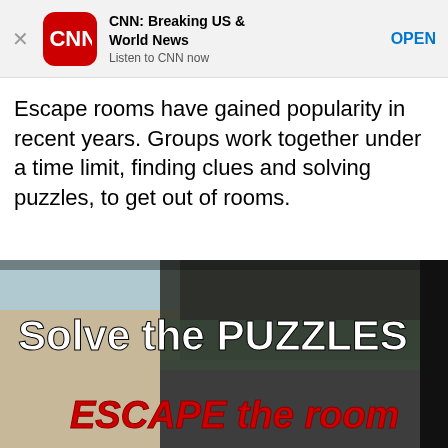[Figure (screenshot): CNN app banner ad showing CNN red rounded square logo, title 'CNN: Breaking US & World News', subtitle 'Listen to CNN now', and blue OPEN button, with an X close button on the left]
Escape rooms have gained popularity in recent years. Groups work together under a time limit, finding clues and solving puzzles, to get out of rooms.
[Figure (photo): Photo of a glass door or window with white text reading 'Solve the PUZZLES' and red italic text reading 'ESCAPE the room', with a street scene visible through the glass]